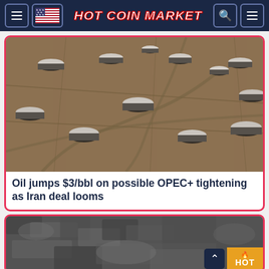HOT COIN MARKET
[Figure (photo): Aerial view of oil storage tanks facility, showing multiple large cylindrical white-roofed tanks on dry sandy terrain]
Oil jumps $3/bbl on possible OPEC+ tightening as Iran deal looms
[Figure (photo): Close-up aerial view of rough terrain or rock surface in grayscale, with a HOT badge overlay in the bottom-right corner]